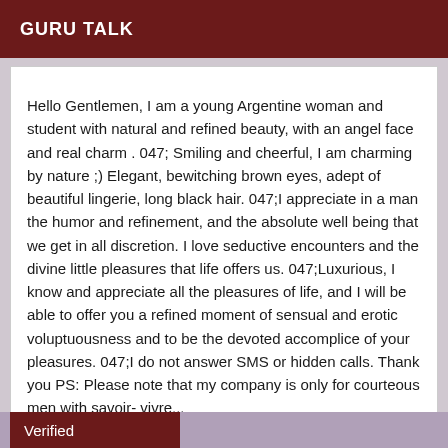GURU TALK
Hello Gentlemen, I am a young Argentine woman and student with natural and refined beauty, with an angel face and real charm . 047; Smiling and cheerful, I am charming by nature ;) Elegant, bewitching brown eyes, adept of beautiful lingerie, long black hair. 047;I appreciate in a man the humor and refinement, and the absolute well being that we get in all discretion. I love seductive encounters and the divine little pleasures that life offers us. 047;Luxurious, I know and appreciate all the pleasures of life, and I will be able to offer you a refined moment of sensual and erotic voluptuousness and to be the devoted accomplice of your pleasures. 047;I do not answer SMS or hidden calls. Thank you PS: Please note that my company is only for courteous men with savoir- vivre...
Verified